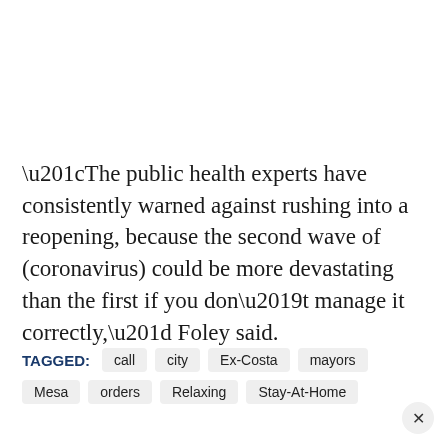“The public health experts have consistently warned against rushing into a reopening, because the second wave of (coronavirus) could be more devastating than the first if you don’t manage it correctly,” Foley said.
TAGGED: call city Ex-Costa mayors Mesa orders Relaxing Stay-At-Home